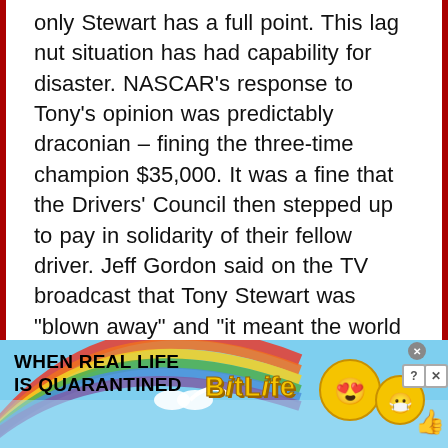only Stewart has a full point. This lag nut situation has had capability for disaster. NASCAR's response to Tony's opinion was predictably draconian – fining the three-time champion $35,000. It was a fine that the Drivers' Council then stepped up to pay in solidarity of their fellow driver. Jeff Gordon said on the TV broadcast that Tony Stewart was "blown away" and "it meant the world to him," but he would in fact donate the money to charity and still pay the fine. Stewart's philanthropy aside, this is an interesting move because the drivers are essentially saying that they will take action against NASCAR where they deem it
[Figure (illustration): Advertisement banner for BitLife mobile game. Rainbow arc in background, light blue sky. Text reads 'WHEN REAL LIFE IS QUARANTINED' in black bold uppercase on left, 'BitLife' in yellow bold on right with game character emojis (star-eyed face, face with mask, thumbs up). Close and help buttons in top right corner.]